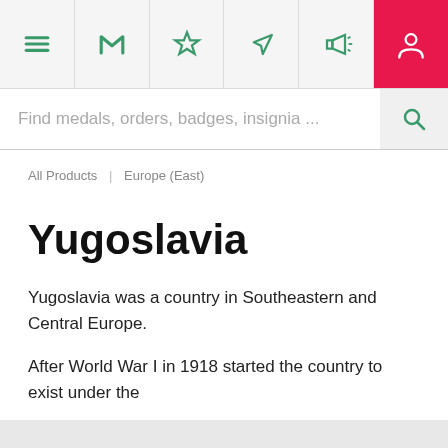[Figure (screenshot): Navigation bar with icons: hamburger menu, M logo, star/favorites, navigation arrow, megaphone/announcements, and user profile (highlighted in pink/red)]
Find medals, orders, badges, insignia ...
All Products | Europe (East)
Yugoslavia
Yugoslavia was a country in Southeastern and Central Europe.
After World War I in 1918 started the country to exist under the ...
SHOW MORE >